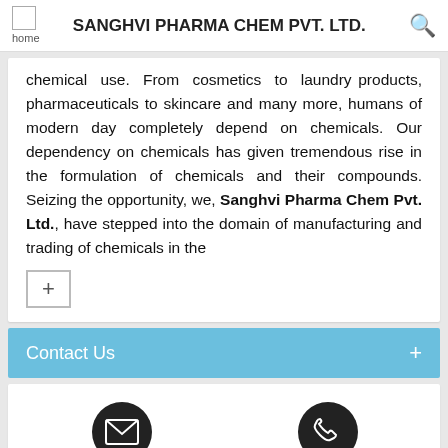SANGHVI PHARMA CHEM PVT. LTD.
chemical use. From cosmetics to laundry products, pharmaceuticals to skincare and many more, humans of modern day completely depend on chemicals. Our dependency on chemicals has given tremendous rise in the formulation of chemicals and their compounds. Seizing the opportunity, we, Sanghvi Pharma Chem Pvt. Ltd., have stepped into the domain of manufacturing and trading of chemicals in the
[Figure (other): Plus/expand button (blue outlined box with + symbol)]
Contact Us
[Figure (other): Email/envelope icon in dark circle and phone icon in dark circle, with labels Send Inquiry and Call Me Free]